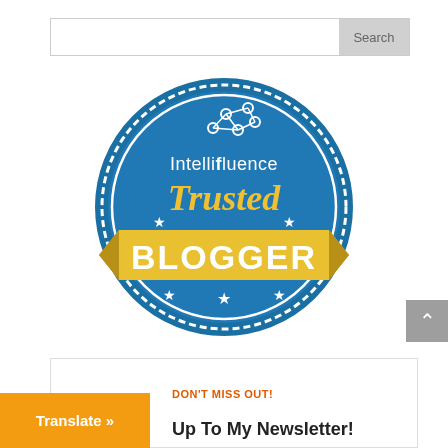[Figure (other): Search bar with text input and Search button]
[Figure (logo): Intellifluence Trusted Blogger badge — circular blue badge with serrated edge, network icon at top, 'Intellifluence' in white text, 'Trusted' in gold script, and 'BLOGGER' on a gold banner with white bold text, white stars at bottom]
[Figure (other): Grey scroll-to-top button with upward chevron arrow]
DON'T MISS OUT!
Up To My Newsletter!